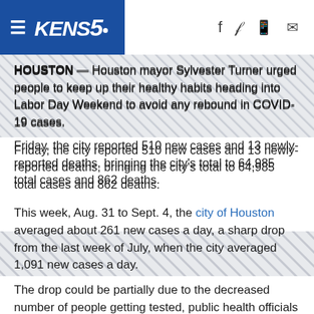KENS5
HOUSTON — Houston mayor Sylvester Turner urged people to keep up their healthy habits heading into Labor Day Weekend to avoid any rebound in COVID-19 cases.
Friday, the city reported 510 new cases and 13 newly-reported deaths, bringing the city's total to 64,985 total cases and 862 deaths.
This week, Aug. 31 to Sept. 4, the city of Houston averaged about 261 new cases a day, a sharp drop from the last week of July, when the city averaged 1,091 new cases a day.
[Figure (other): Diagonal hatched gray stripe divider section]
The drop could be partially due to the decreased number of people getting tested, public health officials said.